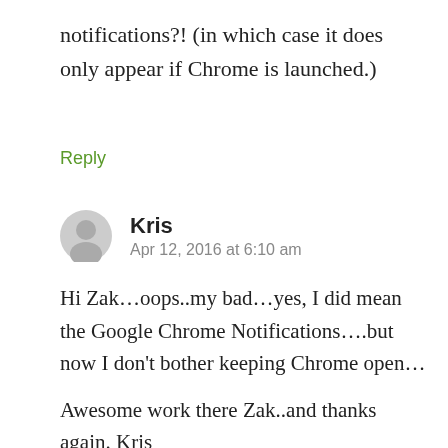notifications?! (in which case it does only appear if Chrome is launched.)
Reply
Kris
Apr 12, 2016 at 6:10 am
Hi Zak…oops..my bad…yes, I did mean the Google Chrome Notifications….but now I don't bother keeping Chrome open…
Awesome work there Zak..and thanks again. Kris